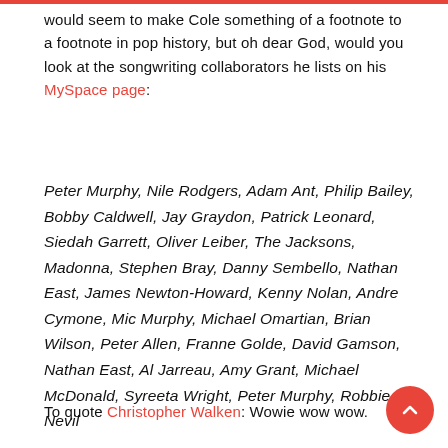would seem to make Cole something of a footnote to a footnote in pop history, but oh dear God, would you look at the songwriting collaborators he lists on his MySpace page:
Peter Murphy, Nile Rodgers, Adam Ant, Philip Bailey, Bobby Caldwell, Jay Graydon, Patrick Leonard, Siedah Garrett, Oliver Leiber, The Jacksons, Madonna, Stephen Bray, Danny Sembello, Nathan East, James Newton-Howard, Kenny Nolan, Andre Cymone, Mic Murphy, Michael Omartian, Brian Wilson, Peter Allen, Franne Golde, David Gamson, Nathan East, Al Jarreau, Amy Grant, Michael McDonald, Syreeta Wright, Peter Murphy, Robbie Nevil
To quote Christopher Walken: Wowie wow wow.